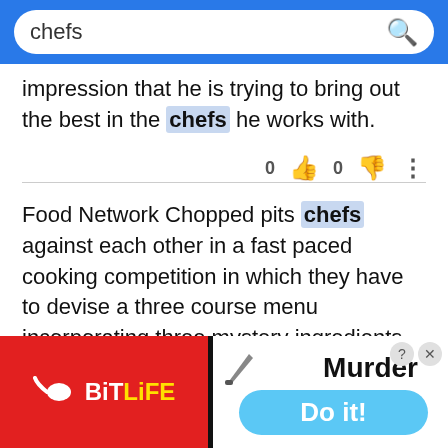[Figure (screenshot): Search bar with blue background, white rounded input field containing text 'chefs' and a search magnifying glass icon on the right]
impression that he is trying to bring out the best in the chefs he works with.
0  0  ⋮
Food Network Chopped pits chefs against each other in a fast paced cooking competition in which they have to devise a three course menu incorporating three mystery ingredients that are not revealed until just as the competition begins.
0  0  ⋮
The three ingredients in question do not have any obvious link to each other, and the chefs must us
[Figure (screenshot): Advertisement banner: left half red background with BitLife logo (white sperm icon and yellow/white text), right half white background with 'Murder' text and 'Do it!' blue button, close/question buttons in top right corner]